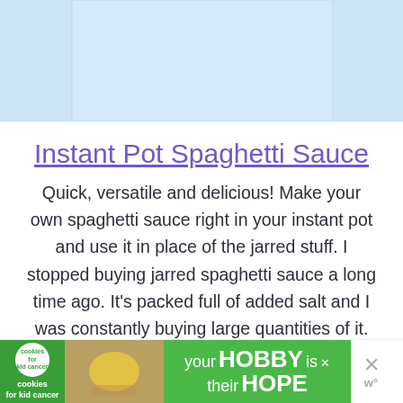[Figure (photo): Top portion of a photo, light blue/white background, appears to be a food-related image (Instant Pot spaghetti sauce)]
Instant Pot Spaghetti Sauce
Quick, versatile and delicious! Make your own spaghetti sauce right in your instant pot and use it in place of the jarred stuff. I stopped buying jarred spaghetti sauce a long time ago. It's packed full of added salt and I was constantly buying large quantities of it. Plus, everyone around here had their own …
[Figure (screenshot): Advertisement banner: cookies for kid cancer charity, 'your HOBBY is their HOPE' green background ad with close button and W logo]